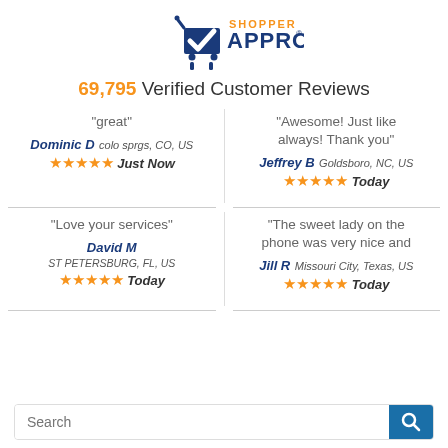[Figure (logo): Shopper Approved logo with checkmark and shopping cart icon]
69,795 Verified Customer Reviews
"great"
Dominic D colo sprgs, CO, US ★★★★★ Just Now
"Awesome! Just like always! Thank you"
Jeffrey B Goldsboro, NC, US ★★★★★ Today
"Love your services"
David M ST PETERSBURG, FL, US ★★★★★ Today
"The sweet lady on the phone was very nice and
Jill R Missouri City, Texas, US ★★★★★ Today